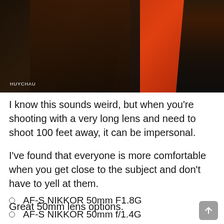[Figure (photo): A person wearing an orange/red outfit photographed against a dark background. Photo credit: HUYCHAU]
I know this sounds weird, but when you're shooting with a very long lens and need to shoot 100 feet away, it can be impersonal.
I've found that everyone is more comfortable when you get close to the subject and don't have to yell at them.
Great 50mm lens options.
AF-S NIKKOR 50mm F1.8G
AF-S NIKKOR 50mm f/1.4G